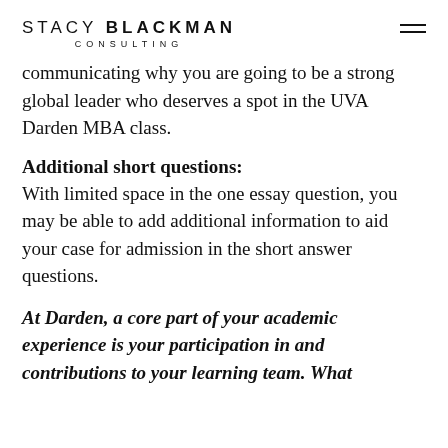STACY BLACKMAN CONSULTING
communicating why you are going to be a strong global leader who deserves a spot in the UVA Darden MBA class.
Additional short questions:
With limited space in the one essay question, you may be able to add additional information to aid your case for admission in the short answer questions.
At Darden, a core part of your academic experience is your participation in and contributions to your learning team. What